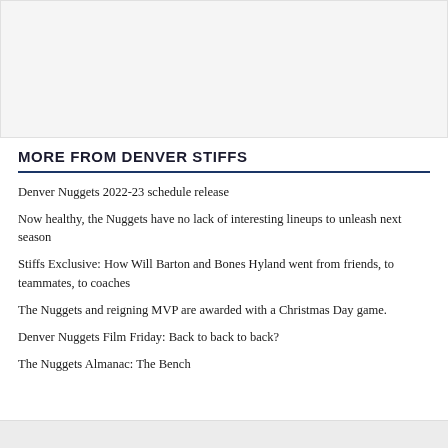[Figure (other): Top image area, appears to be a photo or banner (content not visible in this crop)]
MORE FROM DENVER STIFFS
Denver Nuggets 2022-23 schedule release
Now healthy, the Nuggets have no lack of interesting lineups to unleash next season
Stiffs Exclusive: How Will Barton and Bones Hyland went from friends, to teammates, to coaches
The Nuggets and reigning MVP are awarded with a Christmas Day game.
Denver Nuggets Film Friday: Back to back to back?
The Nuggets Almanac: The Bench